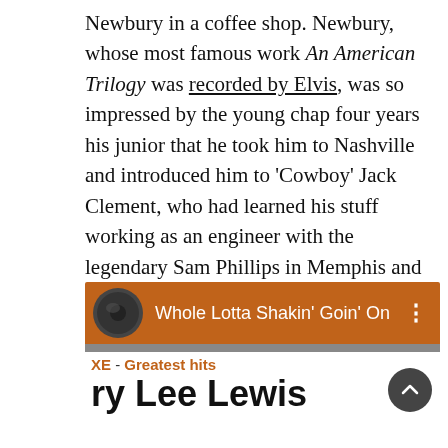Newbury in a coffee shop. Newbury, whose most famous work An American Trilogy was recorded by Elvis, was so impressed by the young chap four years his junior that he took him to Nashville and introduced him to 'Cowboy' Jack Clement, who had learned his stuff working as an engineer with the legendary Sam Phillips in Memphis and produced Jerry Lee Lewis's version of Whole Lotta Shakin' Goin' On.
[Figure (screenshot): Screenshot of a music player app showing 'Whole Lotta Shakin' Goin' On' with an orange header bar, album thumbnail, three-dot menu, gray bar, and album info showing 'XE - Greatest hits' and 'ry Lee Lewis' (Jerry Lee Lewis) with a scroll-to-top button.]